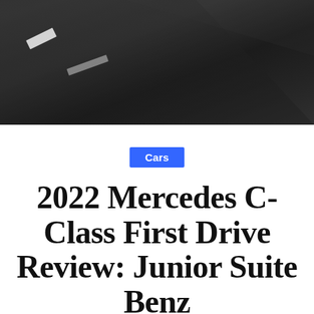[Figure (photo): Dark road surface photographed from above or at angle, with white road markings visible, motion blur effect, dark asphalt background]
Cars
2022 Mercedes C-Class First Drive Review: Junior Suite Benz